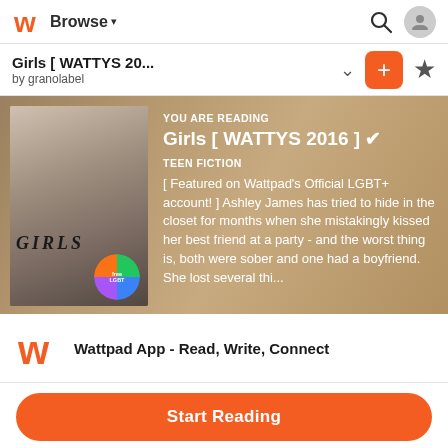Browse
Girls [ WATTYS 20...
by granolabel
[Figure (screenshot): Book banner showing cover image of two girls sitting with an LGBT rainbow ball, overlaid with text: YOU ARE READING, Girls [ WATTYS 2016 ] checkmark, TEEN FICTION, and book description excerpt]
YOU ARE READING
Girls [ WATTYS 2016 ] ✔
TEEN FICTION
[ Featured on Wattpad's Official LGBT+ account! ] Ashley James has tried to hide in the closet for months when she mistakingly kissed her best friend at a party - and the worst thing is, both were sober and one had a boyfriend. She lost several thi...
Wattpad App - Read, Write, Connect
Start Reading
Log in with Browser